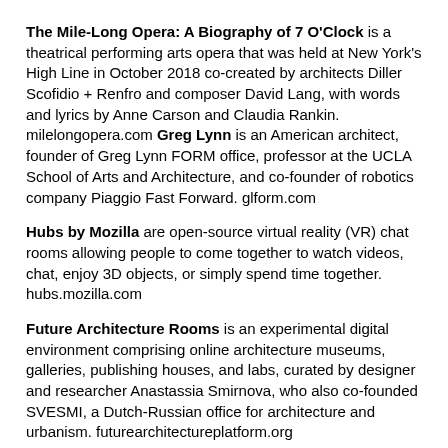The Mile-Long Opera: A Biography of 7 O'Clock is a theatrical performing arts opera that was held at New York's High Line in October 2018 co-created by architects Diller Scofidio + Renfro and composer David Lang, with words and lyrics by Anne Carson and Claudia Rankin. milelongopera.com Greg Lynn is an American architect, founder of Greg Lynn FORM office, professor at the UCLA School of Arts and Architecture, and co-founder of robotics company Piaggio Fast Forward. glform.com
Hubs by Mozilla are open-source virtual reality (VR) chat rooms allowing people to come together to watch videos, chat, enjoy 3D objects, or simply spend time together. hubs.mozilla.com
Future Architecture Rooms is an experimental digital environment comprising online architecture museums, galleries, publishing houses, and labs, curated by designer and researcher Anastassia Smirnova, who also co-founded SVESMI, a Dutch-Russian office for architecture and urbanism. futurearchitectureplatform.org
TRANSCRIPT